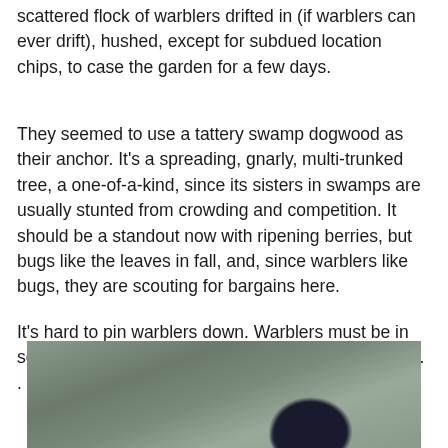scattered flock of warblers drifted in (if warblers can ever drift), hushed, except for subdued location chips, to case the garden for a few days.
They seemed to use a tattery swamp dogwood as their anchor. It's a spreading, gnarly, multi-trunked tree, a one-of-a-kind, since its sisters in swamps are usually stunted from crowding and competition. It should be a standout now with ripening berries, but bugs like the leaves in fall, and, since warblers like bugs, they are scouting for bargains here.
It's hard to pin warblers down. Warblers must be in some avian ADHD category, but I managed to spot. . .
[Figure (photo): Partial photo of a bird (warbler) against a blurred grey-green background, showing the lower portion of the image with dark plumage visible at bottom right.]